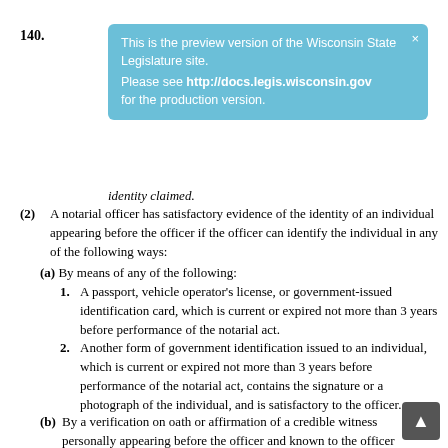140.
[Figure (screenshot): Blue tooltip banner: 'This is the preview version of the Wisconsin State Legislature site. Please see http://docs.legis.wisconsin.gov for the production version.' with close X button.]
identity claimed.
(2) A notarial officer has satisfactory evidence of the identity of an individual appearing before the officer if the officer can identify the individual in any of the following ways:
(a) By means of any of the following:
1. A passport, vehicle operator's license, or government-issued identification card, which is current or expired not more than 3 years before performance of the notarial act.
2. Another form of government identification issued to an individual, which is current or expired not more than 3 years before performance of the notarial act, contains the signature or a photograph of the individual, and is satisfactory to the officer.
(b) By a verification on oath or affirmation of a credible witness personally appearing before the officer and known to the officer or whom the officer can identify on the basis of a passport, vehicle operator's license, or government-issued identification card, which is current or expired not more than 3 years before performance of the notarial act.